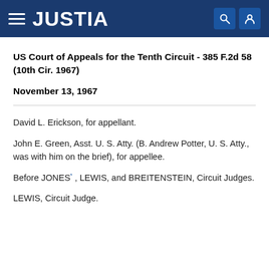JUSTIA
US Court of Appeals for the Tenth Circuit - 385 F.2d 58 (10th Cir. 1967)
November 13, 1967
David L. Erickson, for appellant.
John E. Green, Asst. U. S. Atty. (B. Andrew Potter, U. S. Atty., was with him on the brief), for appellee.
Before JONES*, LEWIS, and BREITENSTEIN, Circuit Judges.
LEWIS, Circuit Judge.